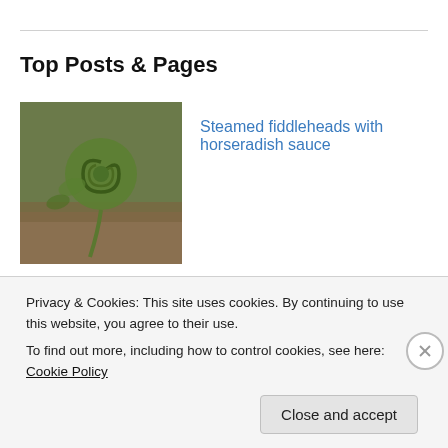Top Posts & Pages
[Figure (photo): Photo of a curled green fiddlehead fern frond]
Steamed fiddleheads with horseradish sauce
[Figure (photo): Photo of baked scones arranged in a square baking pan]
Proper English Scones
[Figure (photo): Partially visible third post thumbnail (cropped)]
Privacy & Cookies: This site uses cookies. By continuing to use this website, you agree to their use.
To find out more, including how to control cookies, see here: Cookie Policy
Close and accept